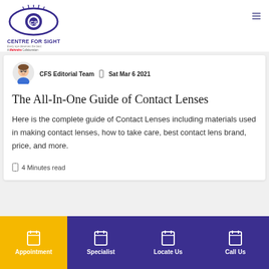[Figure (logo): Centre for Sight eye care logo with stylized eye and 'CS' monogram, purple and dark blue colors. Tagline: Every eye deserves the best. A Mahindra Collaboration.]
CFS Editorial Team  |  Sat Mar 6 2021
The All-In-One Guide of Contact Lenses
Here is the complete guide of Contact Lenses including materials used in making contact lenses, how to take care, best contact lens brand, price, and more.
4 Minutes read
Appointment | Specialist | Locate Us | Call Us